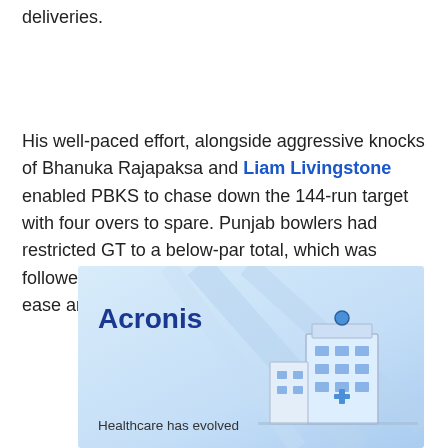deliveries.
His well-paced effort, alongside aggressive knocks of Bhanuka Rajapaksa and Liam Livingstone enabled PBKS to chase down the 144-run target with four overs to spare. Punjab bowlers had restricted GT to a below-par total, which was followed by the batters chasing the score with ease and winning the game by eight wickets.
[Figure (illustration): Acronis advertisement banner with blue gradient background, Acronis logo text in dark blue, decorative diagonal lines, a building/server illustration on the right, and tagline text 'Healthcare has evolved']